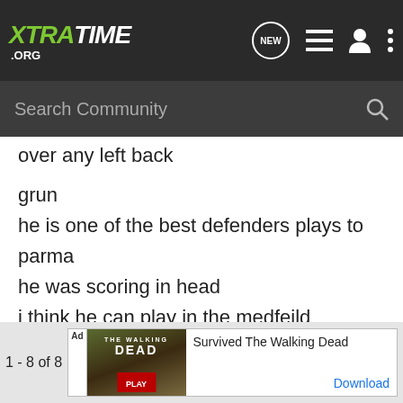XTRATIME .ORG
Search Community
over any left back
grun
he is one of the best defenders plays to parma
he was scoring in head
i think he can play in the medfeild
Almeyda is the best player in the world
1 - 8 of 8
Survived The Walking Dead
Download